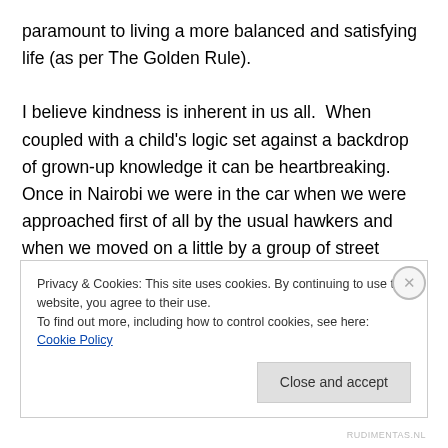paramount to living a more balanced and satisfying life (as per The Golden Rule).

I believe kindness is inherent in us all.  When coupled with a child's logic set against a backdrop of grown-up knowledge it can be heartbreaking.  Once in Nairobi we were in the car when we were approached first of all by the usual hawkers and when we moved on a little by a group of street children, hands outstretched, hunger showing in every ounce of their skinny selves.   Some of them looked about William's age (five then).  The traffic
Privacy & Cookies: This site uses cookies. By continuing to use this website, you agree to their use.
To find out more, including how to control cookies, see here: Cookie Policy
Close and accept
RUDIMENTAS.NL